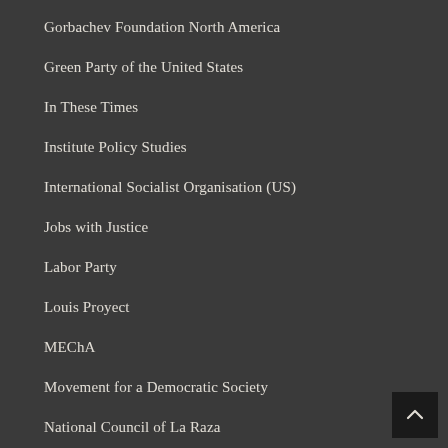Gorbachev Foundation North America
Green Party of the United States
In These Times
Institute Policy Studies
International Socialist Organisation (US)
Jobs with Justice
Labor Party
Louis Proyect
MEChA
Movement for a Democratic Society
National Council of La Raza
New Black Panther...